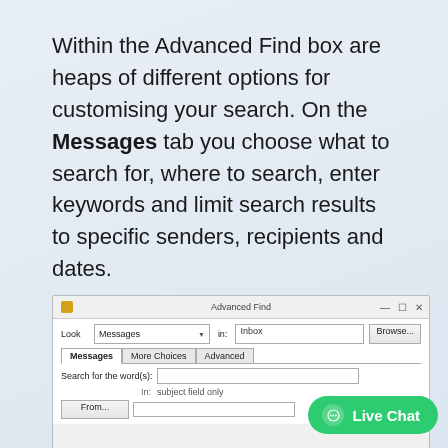Within the Advanced Find box are heaps of different options for customising your search. On the Messages tab you choose what to search for, where to search, enter keywords and limit search results to specific senders, recipients and dates.
[Figure (screenshot): Advanced Find dialog box in Outlook showing the Messages tab with Look: Messages, In: Inbox, Browse button, tabs for Messages/More Choices/Advanced, Search for the word(s) field, In: subject field only, and From... button]